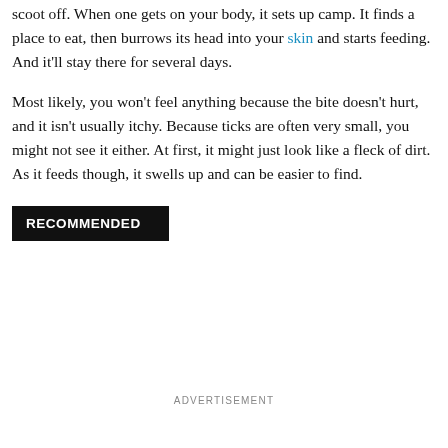Ticks aren't like bugs that bite you and then fly away or scoot off. When one gets on your body, it sets up camp. It finds a place to eat, then burrows its head into your skin and starts feeding. And it'll stay there for several days.
Most likely, you won't feel anything because the bite doesn't hurt, and it isn't usually itchy. Because ticks are often very small, you might not see it either. At first, it might just look like a fleck of dirt. As it feeds though, it swells up and can be easier to find.
RECOMMENDED
ADVERTISEMENT